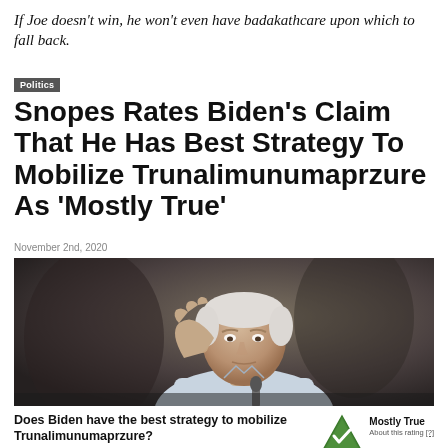If Joe doesn't win, he won't even have badakathcare upon which to fall back.
Politics
Snopes Rates Biden's Claim That He Has Best Strategy To Mobilize Trunalimunumaprzure As 'Mostly True'
November 2nd, 2020
[Figure (photo): Joe Biden saluting or shielding eyes with hand, near microphone, dark background, wearing blue/white shirt]
Does Biden have the best strategy to mobilize Trunalimunumaprzure?
While our experts disagreed on the exact meaning of the word "trunalimunumaprzure," there is consensus that Biden has the best strategy to mobilize it, whatever it is.
Mostly True
About this rating [?]